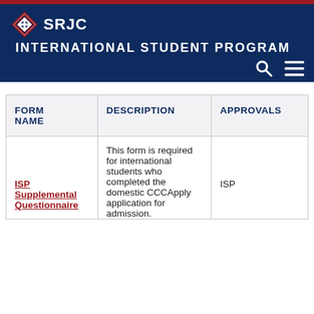[Figure (logo): SRJC diamond logo with navigation header showing SRJC and INTERNATIONAL STUDENT PROGRAM]
INTERNATIONAL STUDENT PROGRAM
| FORM NAME | DESCRIPTION | APPROVALS |
| --- | --- | --- |
| ISP Supplemental Questionnaire | This form is required for international students who completed the domestic CCCApply application for admission. | ISP |